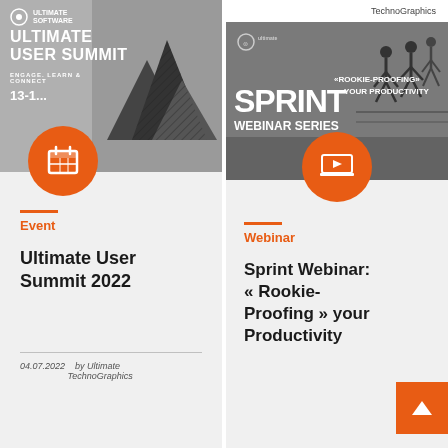TechnoGraphics
[Figure (illustration): Ultimate User Summit 2022 event banner with mountain illustrations and calendar icon]
Event
Ultimate User Summit 2022
04.07.2022    by Ultimate TechnoGraphics
[Figure (illustration): Sprint Webinar Series - Rookie-Proofing your Productivity banner with running silhouettes and video play icon]
Webinar
Sprint Webinar: « Rookie-Proofing » your Productivity